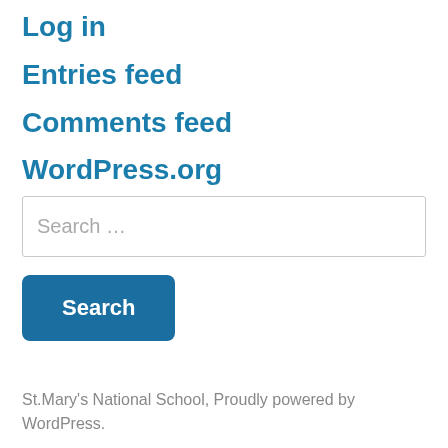Log in
Entries feed
Comments feed
WordPress.org
Search …
Search
St.Mary's National School, Proudly powered by WordPress.